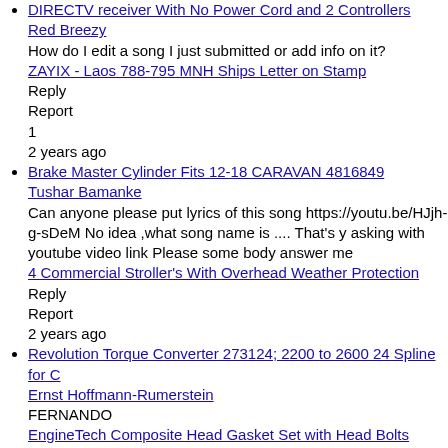DIRECTV receiver With No Power Cord and 2 Controllers
Red Breezy
How do I edit a song I just submitted or add info on it?
ZAYIX - Laos 788-795 MNH Ships Letter on Stamp
Reply
Report
1
2 years ago
Brake Master Cylinder Fits 12-18 CARAVAN 4816849
Tushar Bamanke
Can anyone please put lyrics of this song https://youtu.be/HJjh-g-sDeM No idea ,what song name is .... That's y asking with youtube video link Please some body answer me
4 Commercial Stroller's With Overhead Weather Protection
Reply
Report
2 years ago
Revolution Torque Converter 273124; 2200 to 2600 24 Spline for C
Ernst Hoffmann-Rumerstein
FERNANDO
EngineTech Composite Head Gasket Set with Head Bolts GM181HS-DWB
Reply